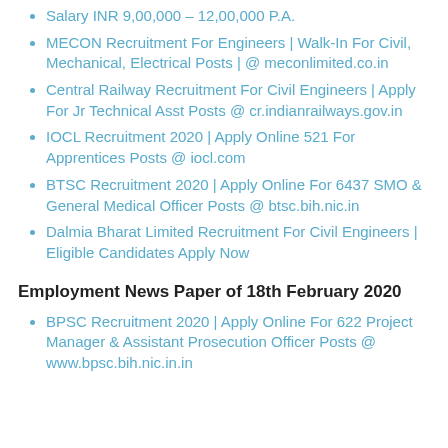Salary INR 9,00,000 – 12,00,000 P.A.
MECON Recruitment For Engineers | Walk-In For Civil, Mechanical, Electrical Posts | @ meconlimited.co.in
Central Railway Recruitment For Civil Engineers | Apply For Jr Technical Asst Posts @ cr.indianrailways.gov.in
IOCL Recruitment 2020 | Apply Online 521 For Apprentices Posts @ iocl.com
BTSC Recruitment 2020 | Apply Online For 6437 SMO & General Medical Officer Posts @ btsc.bih.nic.in
Dalmia Bharat Limited Recruitment For Civil Engineers | Eligible Candidates Apply Now
Employment News Paper of 18th February 2020
BPSC Recruitment 2020 | Apply Online For 622 Project Manager & Assistant Prosecution Officer Posts @ www.bpsc.bih.nic.in.in